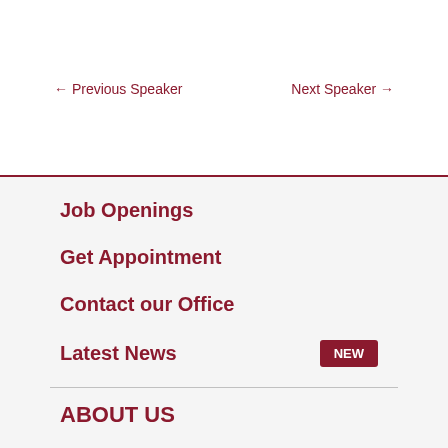← Previous Speaker
Next Speaker →
Job Openings
Get Appointment
Contact our Office
Latest News
ABOUT US